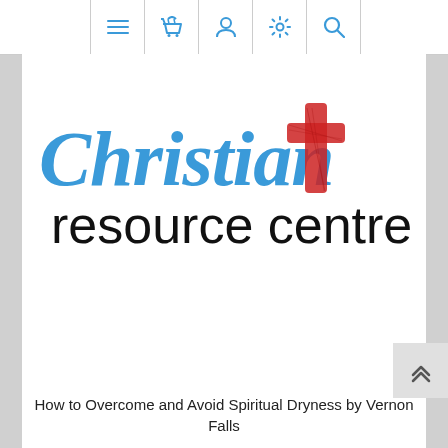Navigation bar with menu, basket, user, settings, and search icons
[Figure (logo): Christian Resource Centre logo: 'Christian' in blue italic script with a red textured cross replacing the 't', and 'resource centre' in black lowercase text below]
How to Overcome and Avoid Spiritual Dryness by Vernon Falls